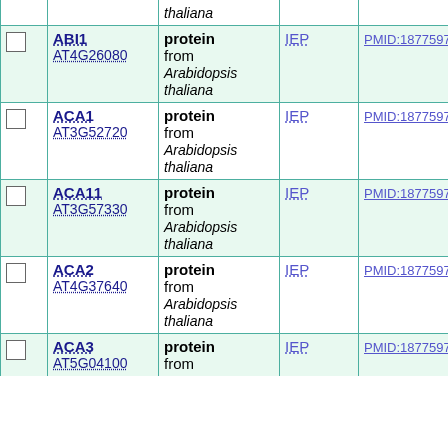|  |  | Gene | Type | Exp | PMID |
| --- | --- | --- | --- | --- | --- |
|  |  | ABI1 AT4G26080 | protein from Arabidopsis thaliana | IEP | PMID:18775970 |
|  |  | ACA1 AT3G52720 | protein from Arabidopsis thaliana | IEP | PMID:18775970 |
|  |  | ACA11 AT3G57330 | protein from Arabidopsis thaliana | IEP | PMID:18775970 |
|  |  | ACA2 AT4G37640 | protein from Arabidopsis thaliana | IEP | PMID:18775970 |
|  |  | ACA3 AT5G04100 | protein from Arabidopsis thaliana | IEP | PMID:18775970 |